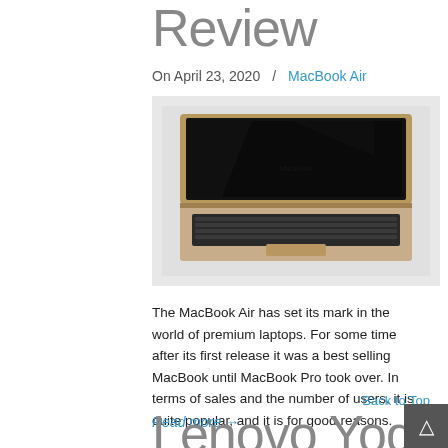Review
On April 23, 2020  /  MacBook Air
[Figure (photo): Photograph of an open MacBook laptop on a white/grey surface, viewed from above at a slight angle, showing the keyboard and the dark screen.]
The MacBook Air has set its mark in the world of premium laptops. For some time after its first release it was a best selling MacBook until MacBook Pro took over. In terms of sales and the number of users, it is quite popular, and it is for good reasons.
Read more →
Back to Top
Lenovo Yoga 720 Review